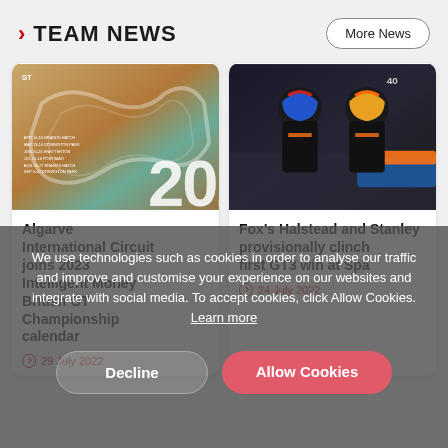> TEAM NEWS
More News
[Figure (photo): Aerial view of Algarve International Circuit (racing track) with 2023 overlaid in large text]
Algarve International Circuit joins 2023 Intelligent Money British GT Championship calendar
29 July 2022
[Figure (photo): Two racing drivers in black and orange gear shaking hands/embracing beside a race car at Spa]
Fox's Halstead and Stanley provisionally clinch first GT3 win at Spa
24 July 2022
We use technologies such as cookies in order to analyse our traffic and improve and customise your experience on our websites and integrate with social media. To accept cookies, click Allow Cookies. Learn more
Decline
Allow Cookies